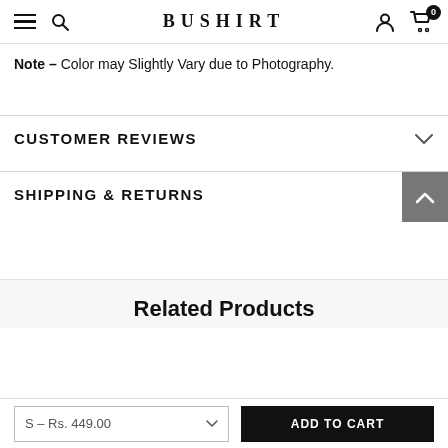BUSHIRT
Note – Color may Slightly Vary due to Photography.
CUSTOMER REVIEWS
SHIPPING & RETURNS
Related Products
S – Rs. 449.00
ADD TO CART